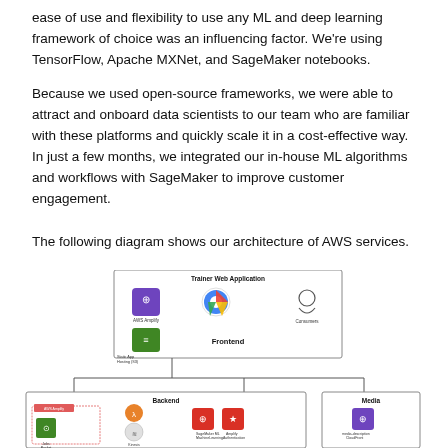ease of use and flexibility to use any ML and deep learning framework of choice was an influencing factor. We're using TensorFlow, Apache MXNet, and SageMaker notebooks.
Because we used open-source frameworks, we were able to attract and onboard data scientists to our team who are familiar with these platforms and quickly scale it in a cost-effective way. In just a few months, we integrated our in-house ML algorithms and workflows with SageMaker to improve customer engagement.
The following diagram shows our architecture of AWS services.
[Figure (engineering-diagram): AWS architecture diagram showing a Trainer Web Application box at the top containing icons for AWS Amplify (developer), a Chrome browser icon, and a Consumers icon, with a Frontend section. Below are two boxes: Backend (containing AWS services icons including Jobs Bucket, Lambda, SageMaker ML, Amplify, and an Aurora icon) and Media (containing a media description CloudFront icon).]